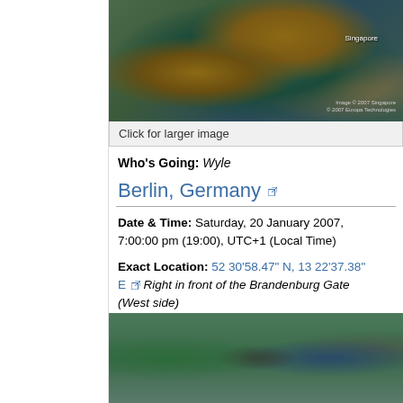[Figure (photo): Satellite aerial view of Singapore waterfront area showing buildings, roads, and water]
Click for larger image
Who's Going: Wyle
Berlin, Germany
Date & Time: Saturday, 20 January 2007, 7:00:00 pm (19:00), UTC+1 (Local Time)
Exact Location: 52 30'58.47" N, 13 22'37.38" E Right in front of the Brandenburg Gate (West side)
[Figure (photo): Satellite aerial view of Berlin Brandenburg Gate area showing the gate and surrounding structures from above]